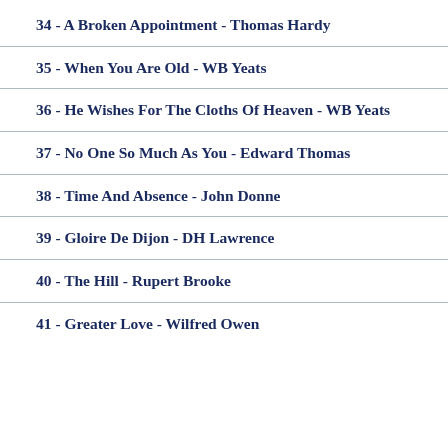34 - A Broken Appointment - Thomas Hardy
35 - When You Are Old - WB Yeats
36 - He Wishes For The Cloths Of Heaven - WB Yeats
37 - No One So Much As You - Edward Thomas
38 - Time And Absence - John Donne
39 - Gloire De Dijon - DH Lawrence
40 - The Hill - Rupert Brooke
41 - Greater Love - Wilfred Owen